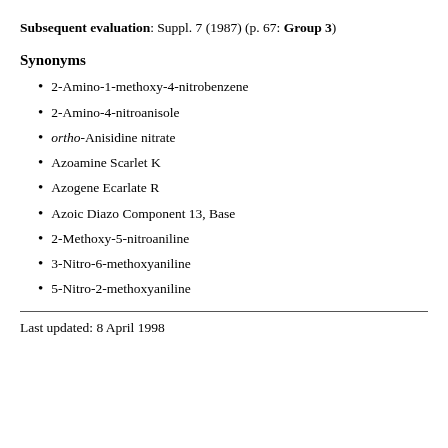Subsequent evaluation: Suppl. 7 (1987) (p. 67: Group 3)
Synonyms
2-Amino-1-methoxy-4-nitrobenzene
2-Amino-4-nitroanisole
ortho-Anisidine nitrate
Azoamine Scarlet K
Azogene Ecarlate R
Azoic Diazo Component 13, Base
2-Methoxy-5-nitroaniline
3-Nitro-6-methoxyaniline
5-Nitro-2-methoxyaniline
Last updated: 8 April 1998